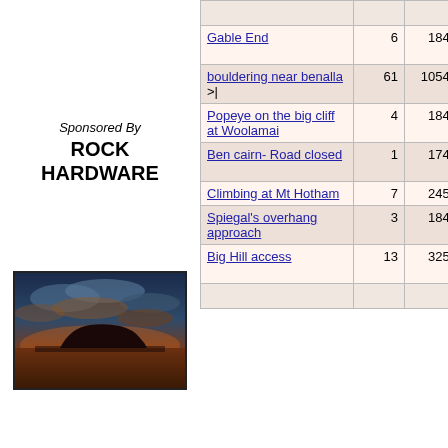Sponsored By ROCK HARDWARE
[Figure (photo): Scenic landscape photo of Uluru (Ayers Rock) at sunset with dramatic red and blue cloudy sky]
| Topic | Replies | Views | Last |
| --- | --- | --- | --- |
| Gable End | 6 | 1845 | 10-Ma... Ruper... |
| bouldering near benalla >| | 61 | 10541 | 10-Ap... |
| Popeye on the big cliff at Woolamai | 4 | 1841 | 23-Ma... ado_m... |
| Ben cairn- Road closed | 1 | 1744 | 18-De... phillip... |
| Climbing at Mt Hotham | 7 | 2458 | 1-Aug... |
| Spiegal's overhang approach | 3 | 1844 | 16-Ja... Jamess... |
| Big Hill access | 13 | 3251 | 10-Au... Jayfor... |